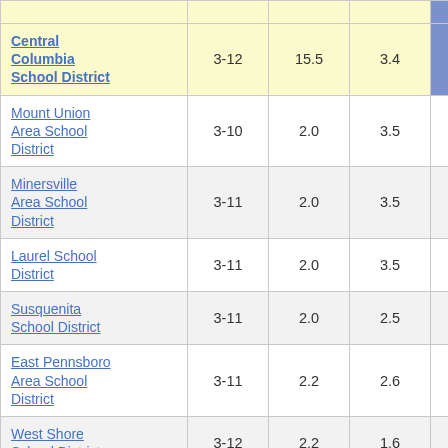| School District | Grades | Col3 | Col4 | Col5 |
| --- | --- | --- | --- | --- |
| Central Columbia School District | 3-12 | 15.5 | 3.4 | 4.49 |
| Mount Union Area School District | 3-10 | 2.0 | 3.5 | 0.56 |
| Minersville Area School District | 3-11 | 2.0 | 3.5 | 0.57 |
| Laurel School District | 3-11 | 2.0 | 3.5 | 0.57 |
| Susquenita School District | 3-11 | 2.0 | 2.5 | 0.83 |
| East Pennsboro Area School District | 3-11 | 2.2 | 2.6 | 0.82 |
| West Shore School District | 3-12 | 2.2 | 1.6 | 1.43 |